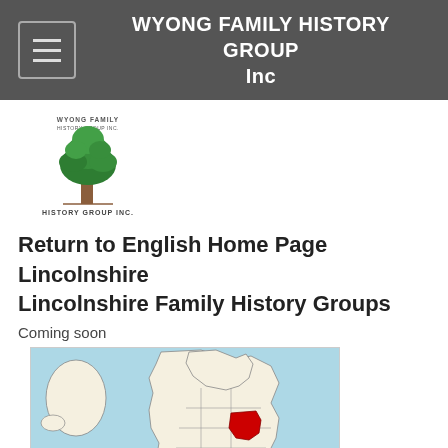WYONG FAMILY HISTORY GROUP Inc
[Figure (logo): Wyong Family History Group Inc logo: green tree with text 'WYONG FAMILY HISTORY GROUP INC.' below]
Return to English Home Page
Lincolnshire
Lincolnshire Family History Groups
Coming soon
[Figure (map): Map of the United Kingdom and Ireland showing Lincolnshire highlighted in red on the east coast of England, with surrounding sea areas in light blue and land areas in light cream/white]